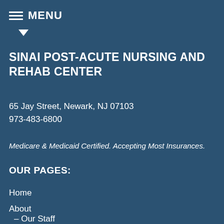MENU
SINAI POST-ACUTE NURSING AND REHAB CENTER
65 Jay Street, Newark, NJ 07103
973-483-6800
Medicare & Medicaid Certified. Accepting Most Insurances.
OUR PAGES:
Home
About
– Our Staff
– Success Stories